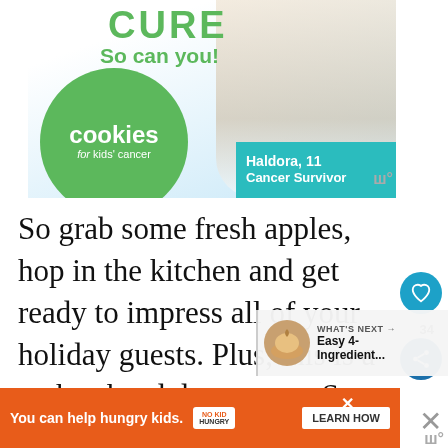[Figure (illustration): Advertisement banner for 'Cookies for Kids' Cancer' showing a smiling girl holding a stack of cookies/pancakes with chocolate topping, a green circle logo with 'cookies for kids' cancer' text, the headline 'CURE So can you!' in green, and a teal box labeling 'Haldora, 11 Cancer Survivor']
So grab some fresh apples, hop in the kitchen and get ready to impress all of your holiday guests. Plus, this is a make ahead dessert too. So you can enjoy spending time with your guests and not wait hours for something to bake in the
[Figure (infographic): WHAT'S NEXT arrow label with small circular image of ice cream and text 'Easy 4-Ingredient...']
[Figure (infographic): Bottom advertisement banner: orange background with text 'You can help hungry kids.' No Kid Hungry logo and a 'LEARN HOW' button]